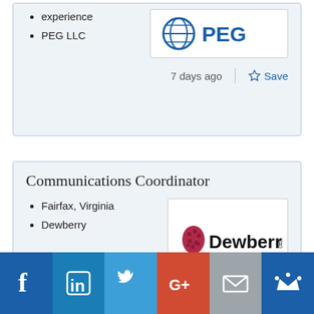experience
PEG LLC
[Figure (logo): PEG logo with globe/network icon and text PEG]
7 days ago
Save
Communications Coordinator
Fairfax, Virginia
Dewberry
[Figure (logo): Dewberry logo with stylized berry icon and bold Dewberry text]
7 days ago
Save
[Figure (infographic): Social media footer with Facebook, LinkedIn, Twitter, Google+, Email, and Crown icons]